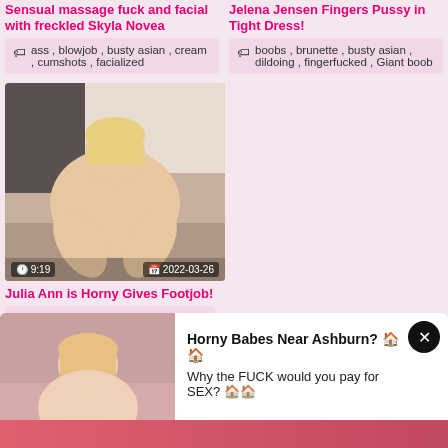Sensual massage fuck and facial with freckled Skyla Novea
ass , blowjob , busty asian , cream , cumshots , facialized
Jelena Jensen Fingers Pussy in Tight Dress!
boobs , brunette , busty asian , dildoing , fingerfucked , Giant boob
[Figure (photo): Thumbnail of blonde woman, duration 9:19, date 2022-03-26]
Julia Ann is Horny Gives Footjob!
ass , blonde , boobs , busty asian , cream , cumshots
[Figure (photo): Advertisement banner: photo of blonde woman on left, text 'Horny Babes Near Ashburn? Why the FUCK would you pay for SEX?' with X close button]